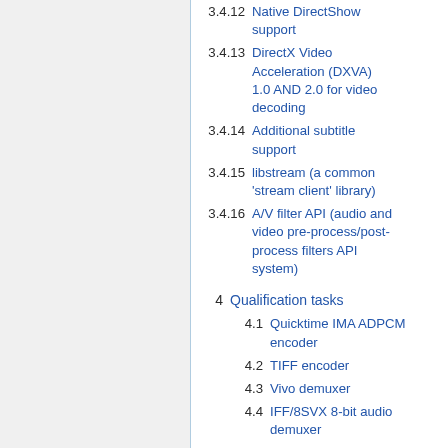3.4.12 Native DirectShow support
3.4.13 DirectX Video Acceleration (DXVA) 1.0 AND 2.0 for video decoding
3.4.14 Additional subtitle support
3.4.15 libstream (a common 'stream client' library)
3.4.16 A/V filter API (audio and video pre-process/post-process filters API system)
4 Qualification tasks
4.1 Quicktime IMA ADPCM encoder
4.2 TIFF encoder
4.3 Vivo demuxer
4.4 IFF/8SVX 8-bit audio demuxer
4.5 Port SGI image support to new...